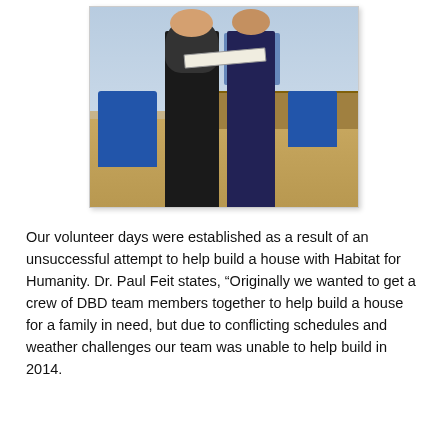[Figure (photo): Two people standing together in what appears to be a school cafeteria or classroom, holding a check between them. A woman in a black polka-dot top and black pants is on the left, and a man in a blue button-up shirt and dark pants is on the right. Blue chairs and tables are visible in the background.]
Our volunteer days were established as a result of an unsuccessful attempt to help build a house with Habitat for Humanity. Dr. Paul Feit states, “Originally we wanted to get a crew of DBD team members together to help build a house for a family in need, but due to conflicting schedules and weather challenges our team was unable to help build in 2014.